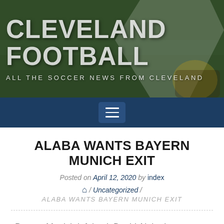CLEVELAND FOOTBALL
ALL THE SOCCER NEWS FROM CLEVELAND
[Figure (screenshot): Navigation bar with hamburger menu icon on dark blue background]
ALABA WANTS BAYERN MUNICH EXIT
Posted on April 12, 2020 by index
/ Uncategorized / ALABA WANTS BAYERN MUNICH EXIT
Bayern Munich left back David Alaba has revealed why he is considering his future at the Allianz Arena.